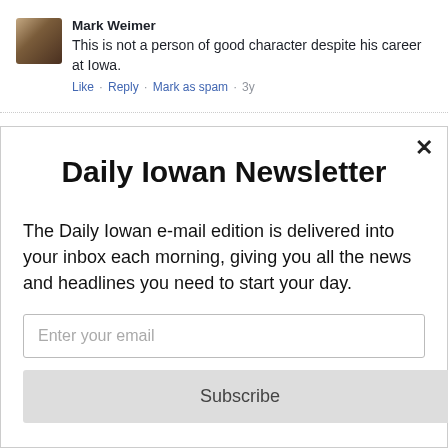[Figure (photo): Small avatar photo of a person, brownish tones]
Mark Weimer
This is not a person of good character despite his career at Iowa.
Like · Reply · Mark as spam · 3y
Daily Iowan Newsletter
The Daily Iowan e-mail edition is delivered into your inbox each morning, giving you all the news and headlines you need to start your day.
Enter your email
Subscribe